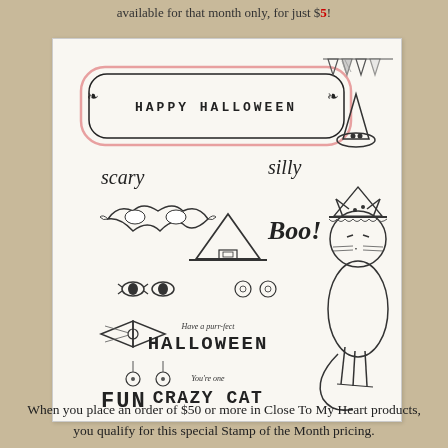available for that month only, for just $5!
[Figure (illustration): A Halloween stamp set illustration sheet on white background showing: a decorative 'HAPPY HALLOWEEN' banner frame with pink outline, bunting/pennant flags, text reading 'scary' and 'silly', a masquerade mask, a witch hat, large 'Boo!' text, cat eyes and nose, a bow tie, decorative dot ornaments, text reading 'Have a purr-fect HALLOWEEN', 'You're one CRAZY CAT', 'FUN', and a sitting white cat wearing a witch hat.]
When you place an order of $50 or more in Close To My Heart products, you qualify for this special Stamp of the Month pricing.